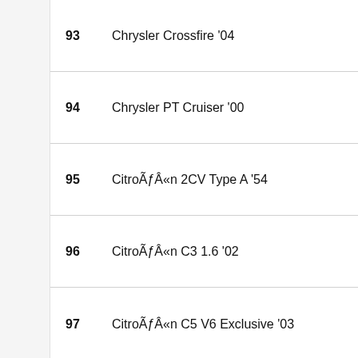93 Chrysler Crossfire '04
94 Chrysler PT Cruiser '00
95 CitroÃƒÂ«n 2CV Type A '54
96 CitroÃƒÂ«n C3 1.6 '02
97 CitroÃƒÂ«n C5 V6 Exclusive '03